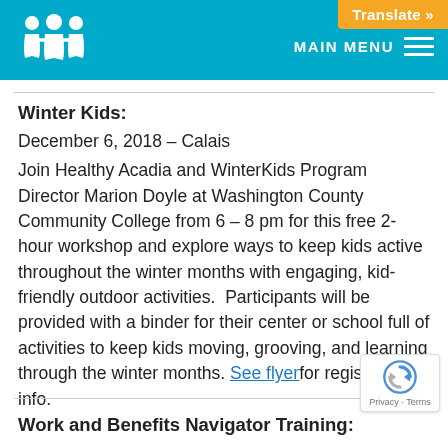MAIN MENU  Translate »
Winter Kids:
December 6, 2018 – Calais
Join Healthy Acadia and WinterKids Program Director Marion Doyle at Washington County Community College from 6 – 8 pm for this free 2-hour workshop and explore ways to keep kids active throughout the winter months with engaging, kid-friendly outdoor activities.  Participants will be provided with a binder for their center or school full of activities to keep kids moving, grooving, and learning through the winter months. See flyerfor registration info.
Work and Benefits Navigator Training: